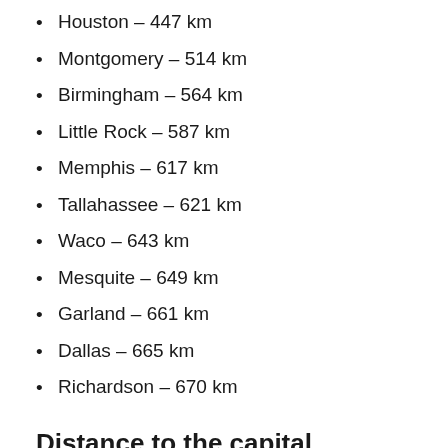Houston – 447 km
Montgomery – 514 km
Birmingham – 564 km
Little Rock – 587 km
Memphis – 617 km
Tallahassee – 621 km
Waco – 643 km
Mesquite – 649 km
Garland – 661 km
Dallas – 665 km
Richardson – 670 km
Distance to the capital
Distance to the capital (Washington) is about —